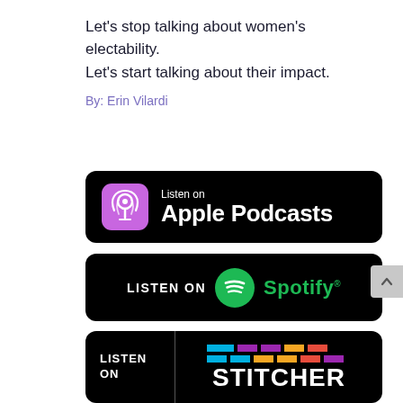Let’s stop talking about women’s electability.
Let’s start talking about their impact.
By: Erin Vilardi
[Figure (logo): Listen on Apple Podcasts badge — black rounded rectangle with purple podcast icon and white text]
[Figure (logo): Listen on Spotify badge — black rounded rectangle with green Spotify logo and white text]
[Figure (logo): Listen on Stitcher badge — black rounded rectangle with colorful Stitcher logo and white text]